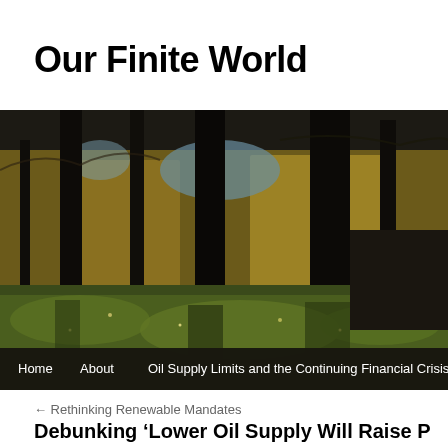Our Finite World
[Figure (photo): A forest scene with tall dark tree trunks, dappled sunlight on green mossy ground, and golden autumn foliage in the background. Navigation bar at the bottom shows: Home, About, Oil Supply Limits and the Continuing Financial Crisis]
← Rethinking Renewable Mandates
Debunking ‘Lower Oil Supply Will Raise P